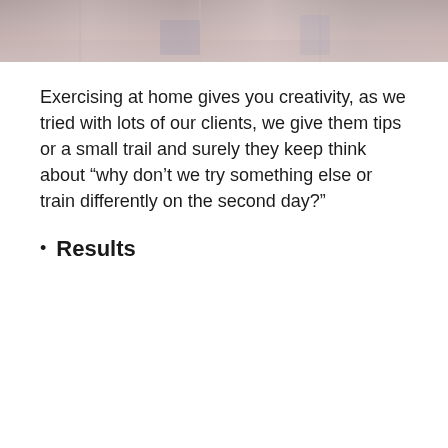[Figure (photo): Photo strip at top of page showing blurred indoor scene with warm tones]
Exercising at home gives you creativity, as we tried with lots of our clients, we give them tips or a small trail and surely they keep think about “why don’t we try something else or train differently on the second day?”
Results